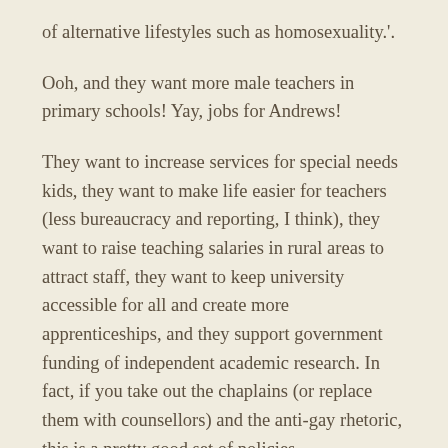of alternative lifestyles such as homosexuality.'.
Ooh, and they want more male teachers in primary schools! Yay, jobs for Andrews!
They want to increase services for special needs kids, they want to make life easier for teachers (less bureaucracy and reporting, I think), they want to raise teaching salaries in rural areas to attract staff, they want to keep university accessible for all and create more apprenticeships, and they support government funding of independent academic research. In fact, if you take out the chaplains (or replace them with counsellors) and the anti-gay rhetoric, this is a pretty good set of policies.
On to the environment, where